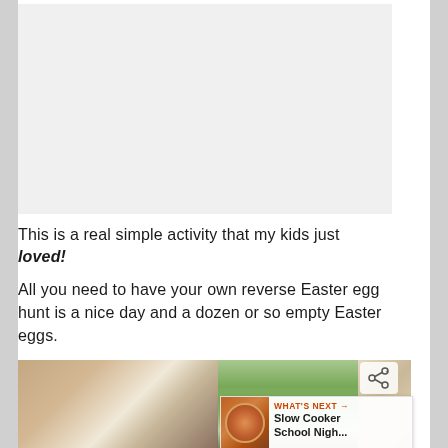[Figure (photo): Blank/white image area at the top of the page]
This is a real simple activity that my kids just loved!
All you need to have your own reverse Easter egg hunt is a nice day and a dozen or so empty Easter eggs.
[Figure (photo): Photo of two young children outdoors with trees in the background. A share icon overlay and a 'WHAT'S NEXT' Slow Cooker School Nigh... overlay appear on the bottom right.]